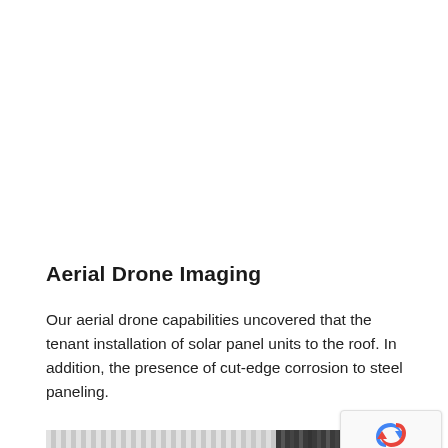Aerial Drone Imaging
Our aerial drone capabilities uncovered that the tenant installation of solar panel units to the roof. In addition, the presence of cut-edge corrosion to steel paneling.
[Figure (photo): Close-up photograph of corrugated steel paneling showing vertical ribbed metal panels with areas of cut-edge corrosion and dark staining visible on the right side.]